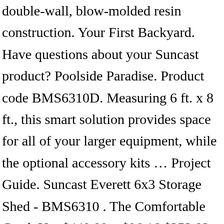double-wall, blow-molded resin construction. Your First Backyard. Have questions about your Suncast product? Poolside Paradise. Product code BMS6310D. Measuring 6 ft. x 8 ft., this smart solution provides space for all of your larger equipment, while the optional accessory kits … Project Guide. Suncast Everett 6x3 Storage Shed - BMS6310 . The Comfortable Catch Up. $449.99 – $96.16 $353.83. Prices, Promotions, styles, and availability may vary. Discover the storage option that's right for you. Products are subject to change without notice and dimensions given may vary